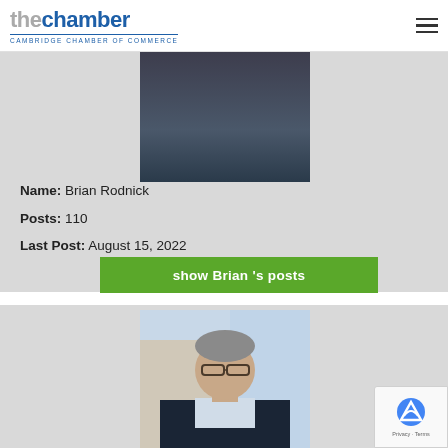thechamber CAMBRIDGE CHAMBER OF COMMERCE
[Figure (photo): Profile photo of Brian Rodnick, person wearing dark sweater]
Name: Brian Rodnick
Posts: 110
Last Post: August 15, 2022
show Brian 's posts
[Figure (photo): Profile photo of an older man with glasses wearing a dark blazer and light shirt, smiling]